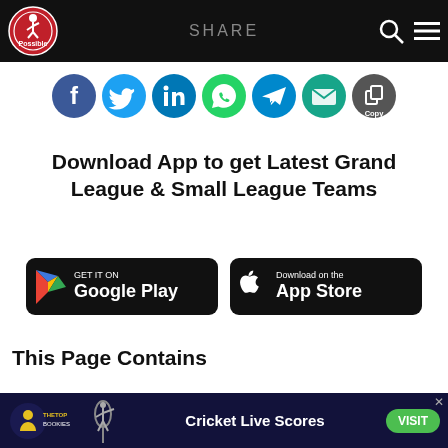SHARE
[Figure (infographic): Row of social sharing icons: Facebook (blue), Twitter (light blue), LinkedIn (blue-teal), WhatsApp (green), Telegram (blue), Email (teal), Copy (dark gray)]
Download App to get Latest Grand League & Small League Teams
[Figure (screenshot): Google Play Store download badge (black background, GET IT ON Google Play with Play triangle logo)]
[Figure (screenshot): Apple App Store download badge (black background, Download on the App Store with Apple logo)]
This Page Contains
[Figure (infographic): Bottom advertisement banner: TheTopBookies logo, Cricket bat silhouette, Cricket Live Scores text, VISIT button in green]